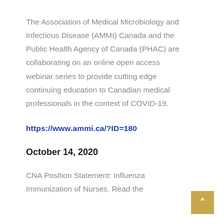The Association of Medical Microbiology and Infectious Disease (AMMI) Canada and the Public Health Agency of Canada (PHAC) are collaborating on an online open access webinar series to provide cutting edge continuing education to Canadian medical professionals in the context of COVID-19.
https://www.ammi.ca/?ID=180
October 14, 2020
CNA Position Statement: Influenza Immunization of Nurses. Read the